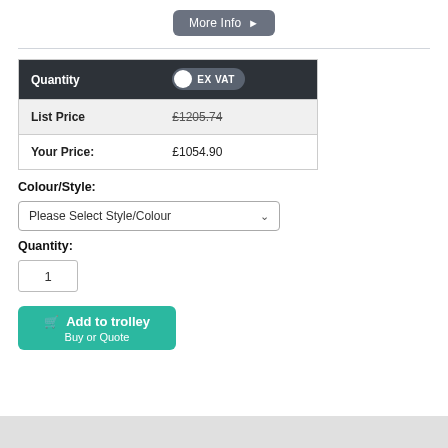More Info ▶
| Quantity | EX VAT |
| --- | --- |
| List Price | £1205.74 |
| Your Price: | £1054.90 |
Colour/Style:
Please Select Style/Colour
Quantity:
1
Add to trolley
Buy or Quote